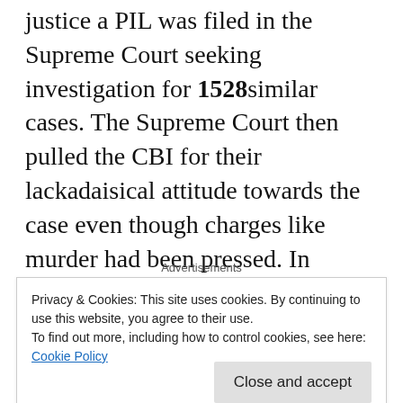justice a PIL was filed in the Supreme Court seeking investigation for 1528 similar cases. The Supreme Court then pulled the CBI for their lackadaisical attitude towards the case even though charges like murder had been pressed. In August 2018 a petition was mentioned before the then Chief Justice of India Dipak Misra by 355 army personal regarding the alleged dilution of the Armed Forces Special Powers Act (AFSPA).
Advertisements
Privacy & Cookies: This site uses cookies. By continuing to use this website, you agree to their use.
To find out more, including how to control cookies, see here:
Cookie Policy
Close and accept
by the officer for the Special Investigation team